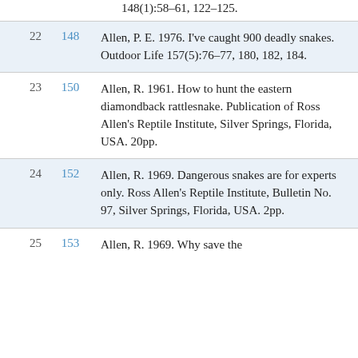148(1):58–61, 122–125.
| # | Ref | Citation |
| --- | --- | --- |
| 22 | 148 | Allen, P. E. 1976. I've caught 900 deadly snakes. Outdoor Life 157(5):76–77, 180, 182, 184. |
| 23 | 150 | Allen, R. 1961. How to hunt the eastern diamondback rattlesnake. Publication of Ross Allen's Reptile Institute, Silver Springs, Florida, USA. 20pp. |
| 24 | 152 | Allen, R. 1969. Dangerous snakes are for experts only. Ross Allen's Reptile Institute, Bulletin No. 97, Silver Springs, Florida, USA. 2pp. |
| 25 | 153 | Allen, R. 1969. Why save the |